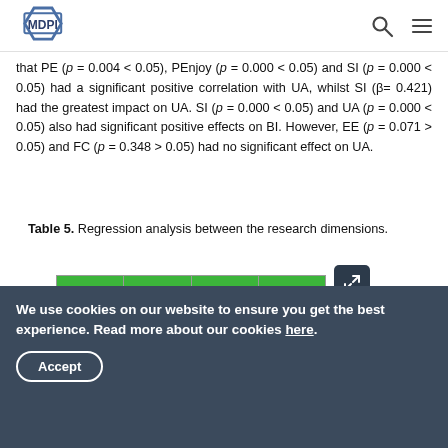MDPI
that PE (p = 0.004 < 0.05), PEnjoy (p = 0.000 < 0.05) and SI (p = 0.000 < 0.05) had a significant positive correlation with UA, whilst SI (β= 0.421) had the greatest impact on UA. SI (p = 0.000 < 0.05) and UA (p = 0.000 < 0.05) also had significant positive effects on BI. However, EE (p = 0.071 > 0.05) and FC (p = 0.348 > 0.05) had no significant effect on UA.
Table 5. Regression analysis between the research dimensions.
[Figure (table-as-image): Partial view of Table 5 showing green header row and one data row, with an expand icon overlay.]
We use cookies on our website to ensure you get the best experience. Read more about our cookies here.